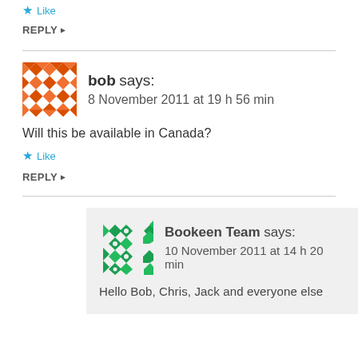Like
REPLY
bob says:
8 November 2011 at 19 h 56 min
Will this be available in Canada?
Like
REPLY
Bookeen Team says:
10 November 2011 at 14 h 20 min
Hello Bob, Chris, Jack and everyone else